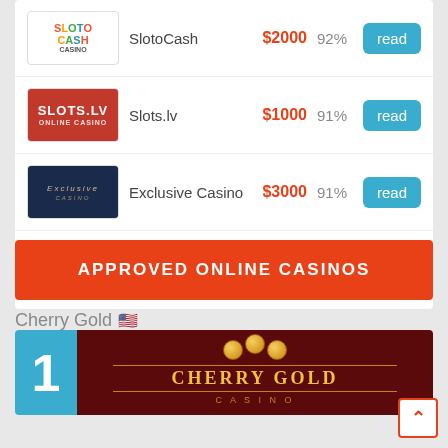| Logo | Casino | Bonus | Rating | Action |
| --- | --- | --- | --- | --- |
| SlotoCash logo | SlotoCash | $2000 | 92% | read |
| Slots.lv logo | Slots.lv | $1000 | 91% | read |
| Exclusive Casino logo | Exclusive Casino | $3000 | 91% | read |
|  |  |  |  |  |
APPROVED ONLINE CASINOS
Cherry Gold 🇺🇸
[Figure (logo): Cherry Gold Casino logo with rank #1 badge, dark red background with golden cherries and CHERRY GOLD CASINO text]